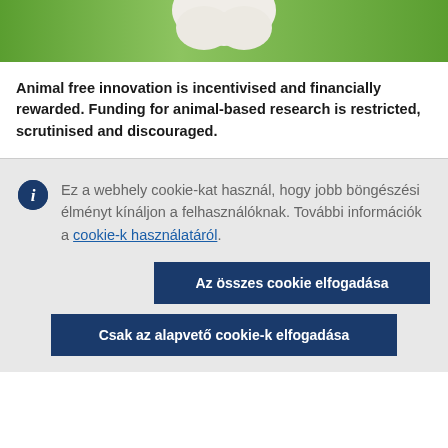[Figure (photo): Partial photo of a white animal (likely a rabbit or white mouse) against green grass background, cropped at top]
Animal free innovation is incentivised and financially rewarded. Funding for animal-based research is restricted, scrutinised and discouraged.
Ez a webhely cookie-kat használ, hogy jobb böngészési élményt kínáljon a felhasználóknak. További információk a cookie-k használatáról.
Az összes cookie elfogadása
Csak az alapvető cookie-k elfogadása